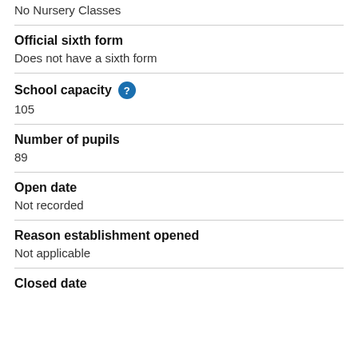No Nursery Classes
Official sixth form
Does not have a sixth form
School capacity
105
Number of pupils
89
Open date
Not recorded
Reason establishment opened
Not applicable
Closed date